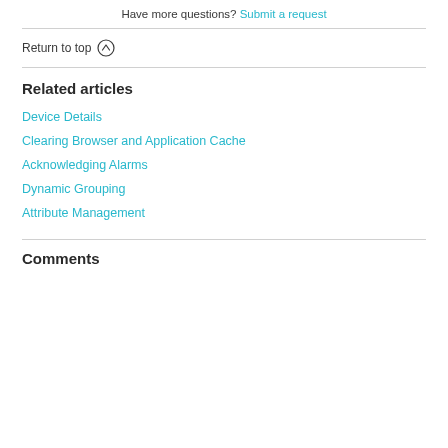Have more questions? Submit a request
Return to top ↑
Related articles
Device Details
Clearing Browser and Application Cache
Acknowledging Alarms
Dynamic Grouping
Attribute Management
Comments